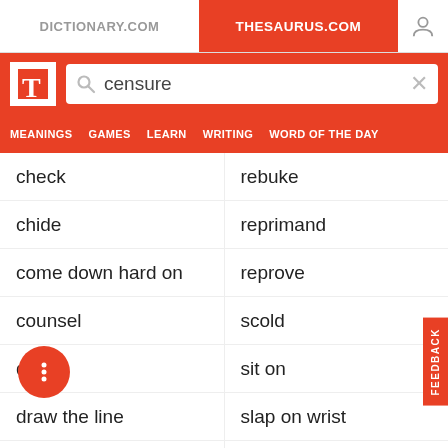DICTIONARY.COM | THESAURUS.COM
[Figure (screenshot): Search bar with search icon, text 'censure', and clear X button on red background with white T logo]
MEANINGS  GAMES  LEARN  WRITING  WORD OF THE DAY
check | rebuke
chide | reprimand
come down hard on | reprove
counsel | scold
ding | sit on
draw the line | slap on wrist
enjoin | speak to
xhort | talk to
forewarn | tell a thing or two